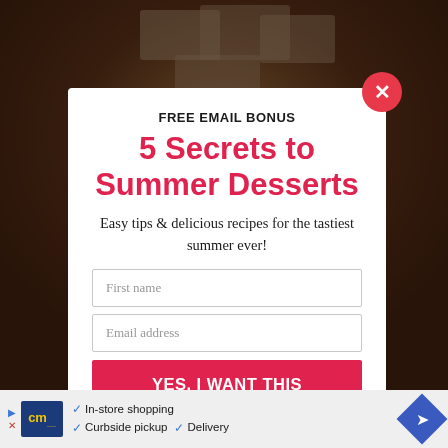[Figure (photo): Dark food background photo showing dessert/fudge pieces on a plate with dark overlay]
FREE EMAIL BONUS
5 Secrets to Summer Desserts
Easy tips & delicious recipes for the tastiest summer ever!
First name
Email address
YES, I WANT THIS
[Figure (infographic): Bottom advertisement bar with CM logo, checkmarks for In-store shopping, Curbside pickup, Delivery, and navigation arrow icon]